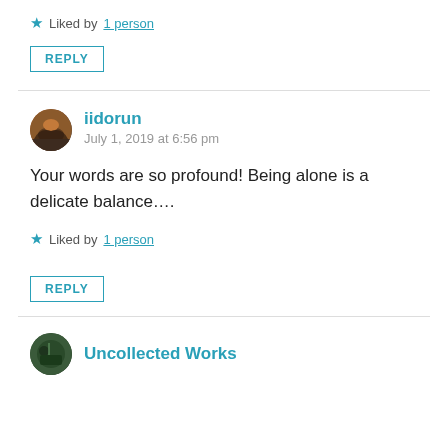★ Liked by 1 person
REPLY
iidorun
July 1, 2019 at 6:56 pm
Your words are so profound! Being alone is a delicate balance….
★ Liked by 1 person
REPLY
Uncollected Works